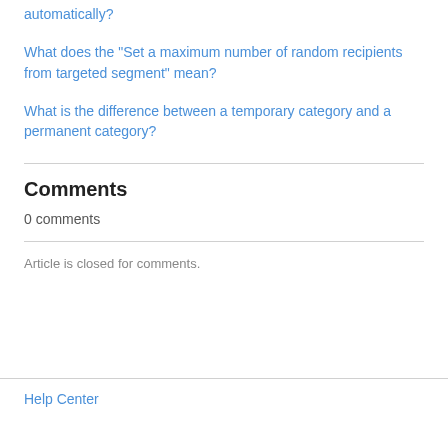automatically?
What does the "Set a maximum number of random recipients from targeted segment" mean?
What is the difference between a temporary category and a permanent category?
Comments
0 comments
Article is closed for comments.
Help Center